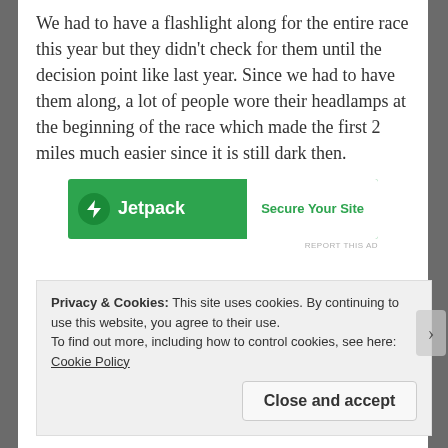We had to have a flashlight along for the entire race this year but they didn't check for them until the decision point like last year.  Since we had to have them along, a lot of people wore their headlamps at the beginning of the race which made the first 2 miles much easier since it is still dark then.
[Figure (other): Jetpack advertisement banner with green background, lightning bolt icon, brand name 'Jetpack', and white button reading 'Secure Your Site']
Privacy & Cookies: This site uses cookies. By continuing to use this website, you agree to their use.
To find out more, including how to control cookies, see here: Cookie Policy
Close and accept